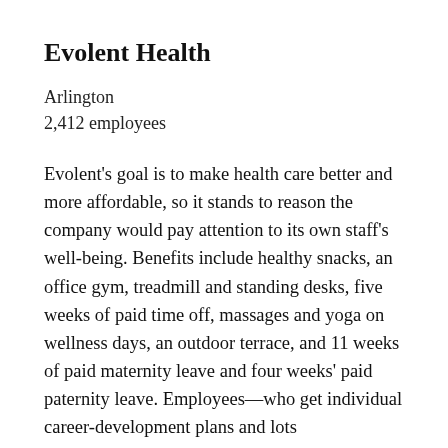Evolent Health
Arlington
2,412 employees
Evolent's goal is to make health care better and more affordable, so it stands to reason the company would pay attention to its own staff's well-being. Benefits include healthy snacks, an office gym, treadmill and standing desks, five weeks of paid time off, massages and yoga on wellness days, an outdoor terrace, and 11 weeks of paid maternity leave and four weeks' paid paternity leave. Employees—who get individual career-development plans and lots